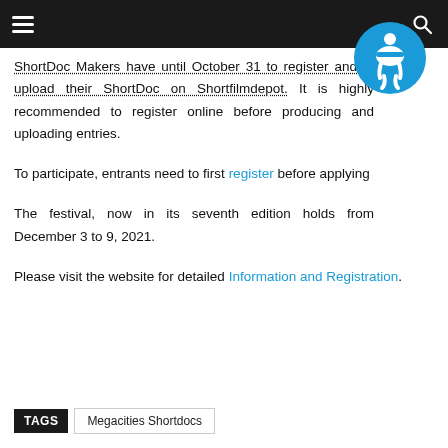ShortDoc Makers have until October 31 to register and to upload their ShortDoc on Shortfilmdepot. It is highly recommended to register online before producing and uploading entries.
To participate, entrants need to first register before applying
The festival, now in its seventh edition holds from December 3 to 9, 2021.
Please visit the website for detailed Information and Registration.
TAGS   Megacities Shortdocs